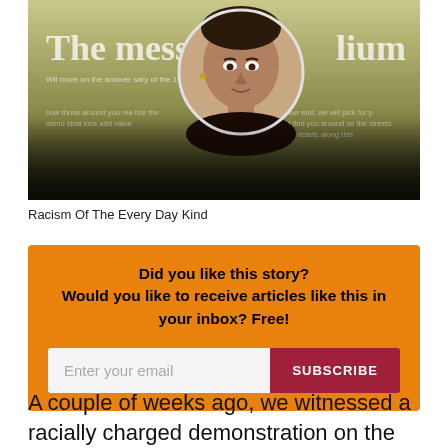[Figure (screenshot): A newsletter banner image showing 'The message ... lium' as the title with a partial headline about 'Racism Of The Every Day Kind', featuring a circular portrait photo of a woman of South Asian appearance, with a dark gradient overlay at the bottom.]
Racism Of The Every Day Kind
Did you like this story? Would you like to receive articles like this in your inbox? Free!
A couple of weeks ago, we witnessed a racially charged demonstration on the